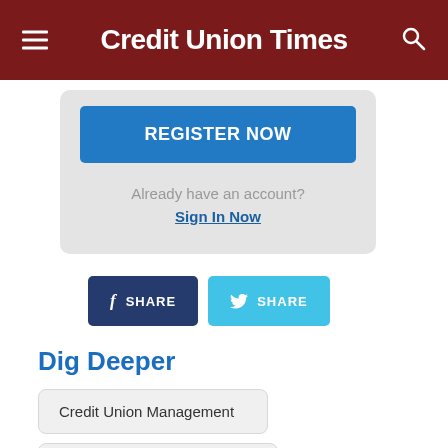Credit Union Times
REGISTER NOW
Already have an account? Sign In Now
f SHARE
SHARE
Dig Deeper
Credit Union Management
Regulatory & Compliance